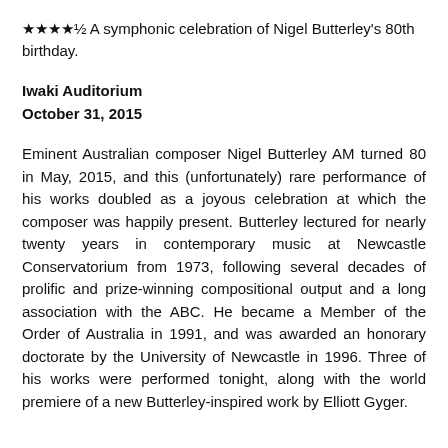★★★★½ A symphonic celebration of Nigel Butterley's 80th birthday.
Iwaki Auditorium
October 31, 2015
Eminent Australian composer Nigel Butterley AM turned 80 in May, 2015, and this (unfortunately) rare performance of his works doubled as a joyous celebration at which the composer was happily present. Butterley lectured for nearly twenty years in contemporary music at Newcastle Conservatorium from 1973, following several decades of prolific and prize-winning compositional output and a long association with the ABC. He became a Member of the Order of Australia in 1991, and was awarded an honorary doctorate by the University of Newcastle in 1996. Three of his works were performed tonight, along with the world premiere of a new Butterley-inspired work by Elliott Gyger.